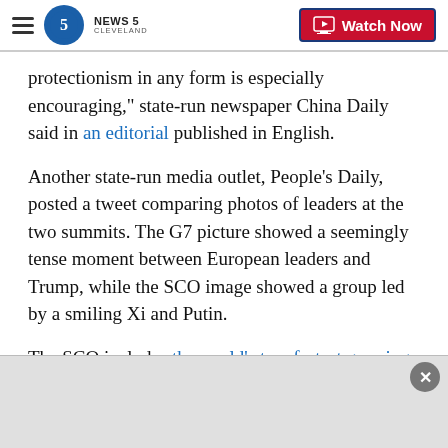NEWS 5 CLEVELAND — Watch Now
protectionism in any form is especially encouraging," state-run newspaper China Daily said in an editorial published in English.
Another state-run media outlet, People's Daily, posted a tweet comparing photos of leaders at the two summits. The G7 picture showed a seemingly tense moment between European leaders and Trump, while the SCO image showed a group led by a smiling Xi and Putin.
The SCO includes the world's two fastest growing